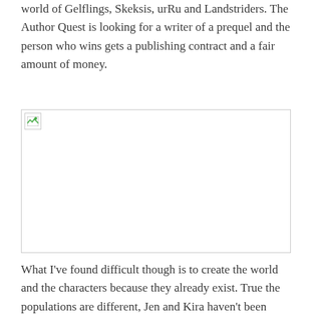world of Gelflings, Skeksis, urRu and Landstriders. The Author Quest is looking for a writer of a prequel and the person who wins gets a publishing contract and a fair amount of money.
[Figure (other): Broken/missing image placeholder with a small broken image icon in the top-left corner]
What I've found difficult though is to create the world and the characters because they already exist. True the populations are different, Jen and Kira haven't been born, but the rest is the same. The brief has said that the author